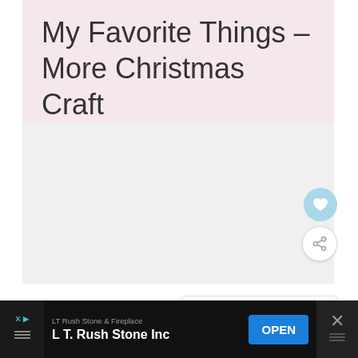My Favorite Things – More Christmas Craft Ideas
[Figure (photo): Image placeholder area with three navigation dots below center, heart favorite button and share button on right side, and a 'What's Next' card showing Spice Rack Organizing...]
WHAT'S NEXT → Spice Rack Organizing...
LT Rush Stone & Fireplace  L T. Rush Stone Inc  OPEN